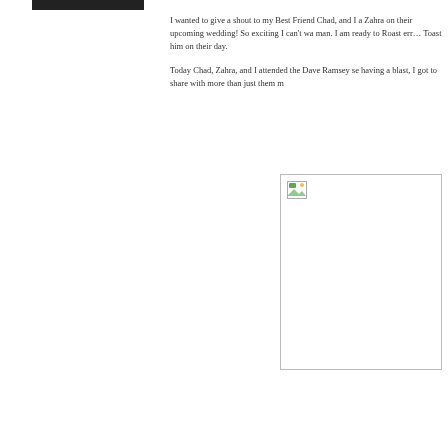[Figure (other): Black bar/header graphic at top left]
I wanted to give a shout to my Best Friend Chad, and I a Zahra on their upcoming wedding! So exciting I can't wa man. I am ready to Roast err… Toast him on their day.
Today Chad, Zahra, and I attended the Dave Ramsey se having a blast, I got to share with more than just them m
[Figure (photo): Broken/missing image placeholder with image icon in top left corner]